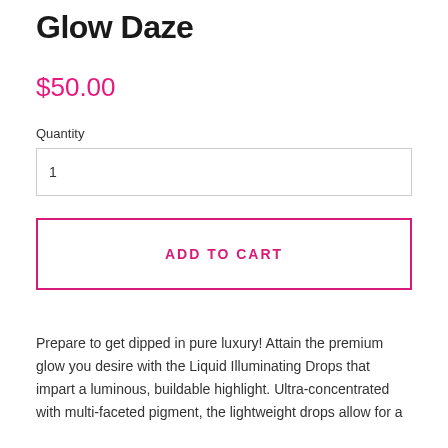Glow Daze
$50.00
Quantity
1
ADD TO CART
Prepare to get dipped in pure luxury! Attain the premium glow you desire with the Liquid Illuminating Drops that impart a luminous, buildable highlight. Ultra-concentrated with multi-faceted pigment, the lightweight drops allow for a